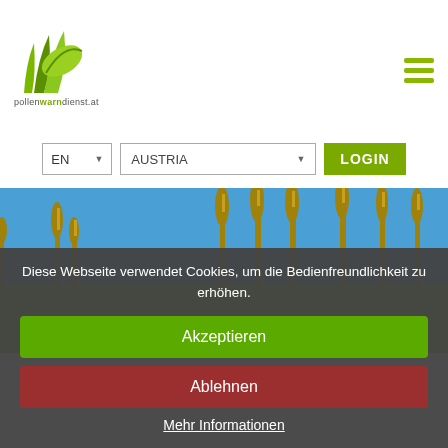[Figure (logo): Pollenwarndienst.at logo: green leaf/grass icon above the text 'pollenwarndienst.at']
[Figure (infographic): Three horizontal green lines (hamburger menu icon) in olive/yellow-green color, top-right corner]
[Figure (screenshot): Navigation bar with language selector 'EN' with dropdown arrow, country selector 'AUSTRIA' with dropdown arrow, and a green 'LOGIN' button]
[Figure (photo): Hero image: tall cattail/bulrush plants with brown seed heads against a bright blue sky, with green meadow in the foreground]
Diese Webseite verwendet Cookies, um die Bedienfreundlichkeit zu erhöhen.
Akzeptieren
Ablehnen
Mehr Informationen